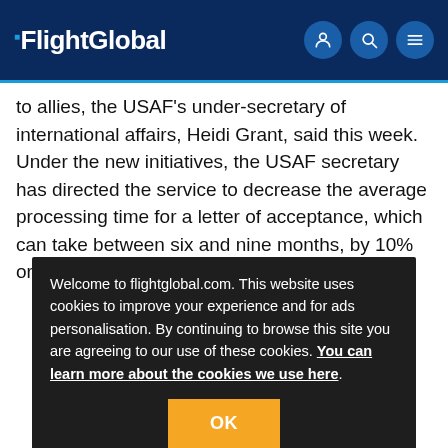FlightGlobal
to allies, the USAF's under-secretary of international affairs, Heidi Grant, said this week. Under the new initiatives, the USAF secretary has directed the service to decrease the average processing time for a letter of acceptance, which can take between six and nine months, by 10% or a month faster.
Welcome to flightglobal.com. This website uses cookies to improve your experience and for ads personalisation. By continuing to browse this site you are agreeing to our use of these cookies. You can learn more about the cookies we use here.